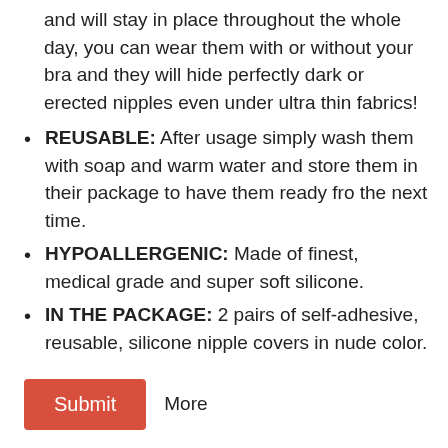and will stay in place throughout the whole day, you can wear them with or without your bra and they will hide perfectly dark or erected nipples even under ultra thin fabrics!
REUSABLE: After usage simply wash them with soap and warm water and store them in their package to have them ready fro the next time.
HYPOALLERGENIC: Made of finest, medical grade and super soft silicone.
IN THE PACKAGE: 2 pairs of self-adhesive, reusable, silicone nipple covers in nude color.
Submit  More
Color:2 Pairs Nude Silicone Nipple Covers